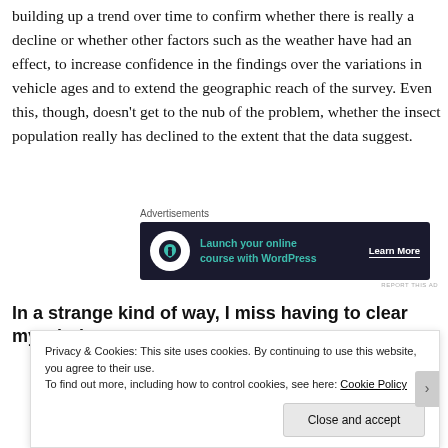building up a trend over time to confirm whether there is really a decline or whether other factors such as the weather have had an effect, to increase confidence in the findings over the variations in vehicle ages and to extend the geographic reach of the survey. Even this, though, doesn't get to the nub of the problem, whether the insect population really has declined to the extent that the data suggest.
Advertisements
[Figure (other): Advertisement banner: dark background with icon, text 'Launch your online course with WordPress' and 'Learn More' button]
In a strange kind of way, I miss having to clear my windscreen
Privacy & Cookies: This site uses cookies. By continuing to use this website, you agree to their use.
To find out more, including how to control cookies, see here: Cookie Policy
Close and accept